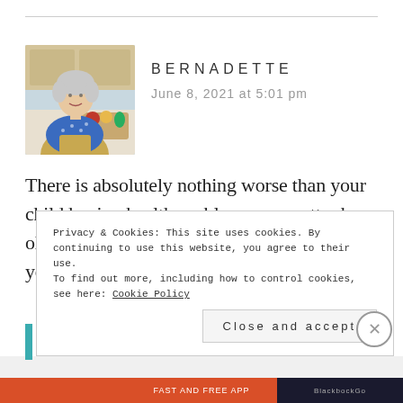[Figure (photo): Headshot of Bernadette, a woman wearing a blue patterned top and a tan apron, standing in a kitchen with vegetables on a cutting board]
BERNADETTE
June 8, 2021 at 5:01 pm
There is absolutely nothing worse than your child having health problem – no matter how old they get. You are do a real service telling your story.
Privacy & Cookies: This site uses cookies. By continuing to use this website, you agree to their use.
To find out more, including how to control cookies, see here: Cookie Policy
Close and accept